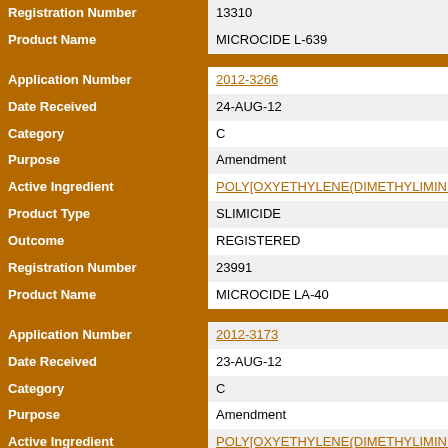| Field | Value |
| --- | --- |
| Registration Number | 13310 |
| Product Name | MICROCIDE L-639 |
| Application Number | 2012-3266 |
| Date Received | 24-AUG-12 |
| Category | C |
| Purpose | Amendment |
| Active Ingredient | POLY[OXYETHYLENE(DIMETHYLIMINIO)ETH... |
| Product Type | SLIMICIDE |
| Outcome | REGISTERED |
| Registration Number | 23991 |
| Product Name | MICROCIDE LA-40 |
| Application Number | 2012-3173 |
| Date Received | 23-AUG-12 |
| Category | C |
| Purpose | Amendment |
| Active Ingredient | POLY[OXYETHYLENE(DIMETHYLIMINIO)ETH... |
| Product Type | SWIMMING POOL ALGICIDE |
| Outcome | REGISTERED |
| Registration Number | 24421 |
| Product Name | ALGYSOLVE 4000 LIQUID ALGAECIDE |
| Application Number | 2012-3155 |
| Date Received | 17-AUG-12 |